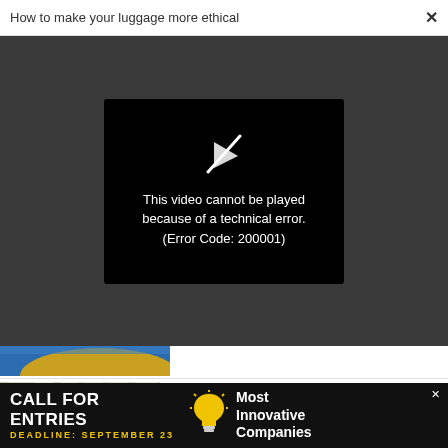How to make your luggage more ethical
[Figure (screenshot): Video player showing an error message: 'This video cannot be played because of a technical error. (Error Code: 200001)' on a black background, embedded in a dark gray video container area.]
[Figure (photo): A small thumbnail image partially visible showing blue and yellow colors, appearing to be an outdoor or architectural scene.]
[Figure (photo): Thumbnail image of a bright modern open-plan office interior with large windows and hanging pendant lights.]
CO-DESIGN
The subtle sexism of your open-plan office
[Figure (infographic): Advertisement banner with black background reading 'CALL FOR ENTRIES DEADLINE: SEPTEMBER 23' with a lightbulb icon and 'Most Innovative Companies' text on the right.]